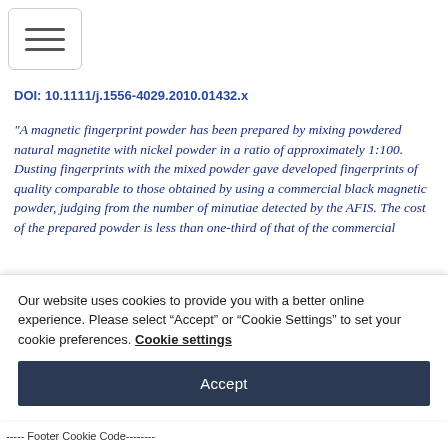[Figure (other): Hamburger menu button with three horizontal lines]
DOI: 10.1111/j.1556-4029.2010.01432.x
"A magnetic fingerprint powder has been prepared by mixing powdered natural magnetite with nickel powder in a ratio of approximately 1:100. Dusting fingerprints with the mixed powder gave developed fingerprints of quality comparable to those obtained by using a commercial black magnetic powder, judging from the number of minutiae detected by the AFIS. The cost of the prepared powder is less than one-third of that of the commercial
Our website uses cookies to provide you with a better online experience. Please select “Accept” or “Cookie Settings” to set your cookie preferences. Cookie settings
Accept
----- Footer Cookie Code--------